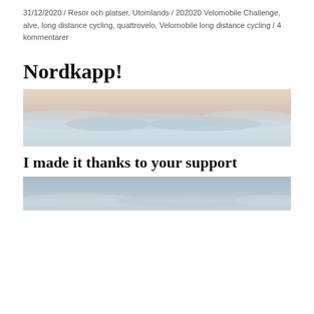31/12/2020 / Resor och platser, Utomlands / 202020 Velomobile Challenge, alve, long distance cycling, quattrovelo, Velomobile long distance cycling / 4 kommentarer
Nordkapp!
[Figure (photo): Panoramic aerial photo of snowy landscape below clouds at dusk with a pink and blue sky]
I made it thanks to your support
[Figure (photo): Another aerial photo showing grey-blue sky and snowy landscape partially visible at the bottom]